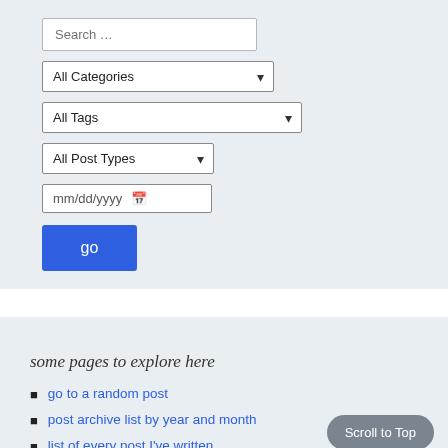Search ...
All Categories
All Tags
All Post Types
mm/dd/yyyy
go
some pages to explore here
go to a random post
post archive list by year and month
list of every post I've written
Scroll to Top